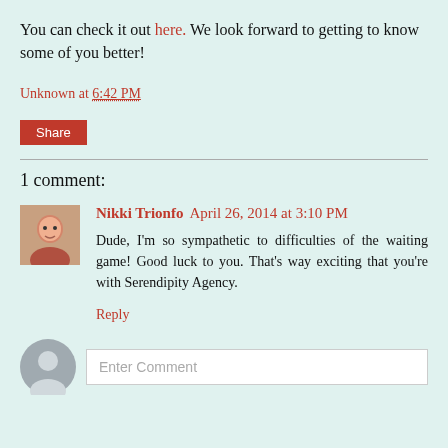You can check it out here.  We look forward to getting to know some of you better!
Unknown at 6:42 PM
Share
1 comment:
Nikki Trionfo April 26, 2014 at 3:10 PM
Dude, I'm so sympathetic to difficulties of the waiting game! Good luck to you. That's way exciting that you're with Serendipity Agency.
Reply
Enter Comment